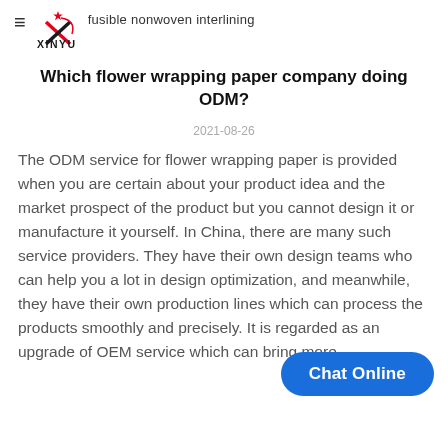XINYU fusible nonwoven interlining
Which flower wrapping paper company doing ODM?
2021-08-26
The ODM service for flower wrapping paper is provided when you are certain about your product idea and the market prospect of the product but you cannot design it or manufacture it yourself. In China, there are many such service providers. They have their own design teams who can help you a lot in design optimization, and meanwhile, they have their own production lines which can process the products smoothly and precisely. It is regarded as an upgrade of OEM service which can bring more